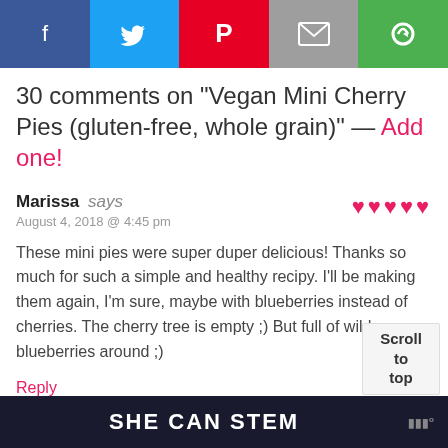[Figure (other): Social media sharing bar with Facebook (blue), Twitter (light blue), Pinterest (red), Email (grey), and Share (green) buttons with white icons]
30 comments on "Vegan Mini Cherry Pies (gluten-free, whole grain)" — Add one!
Marissa says
August 4, 2018 @ 4:45 pm
♥♥♥♥♥
These mini pies were super duper delicious! Thanks so much for such a simple and healthy recipy. I'll be making them again, I'm sure, maybe with blueberries instead of cherries. The cherry tree is empty ;) But full of wild blueberries around ;)
Reply
Scroll
to
top
SHE CAN STEM